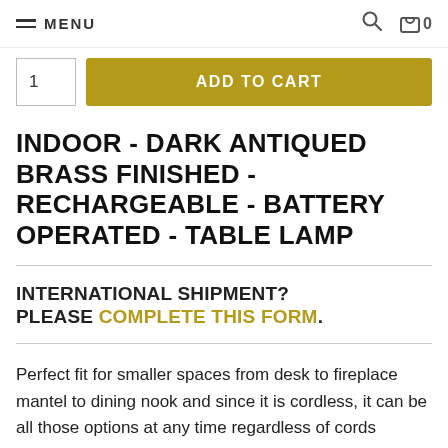MENU  🔍  🛒 0
1  ADD TO CART
INDOOR - DARK ANTIQUED BRASS FINISHED -  RECHARGEABLE - BATTERY OPERATED - TABLE LAMP
INTERNATIONAL SHIPMENT? PLEASE COMPLETE THIS FORM.
Perfect fit for smaller spaces from desk to fireplace mantel to dining nook and since it is cordless, it can be all those options at any time regardless of cords